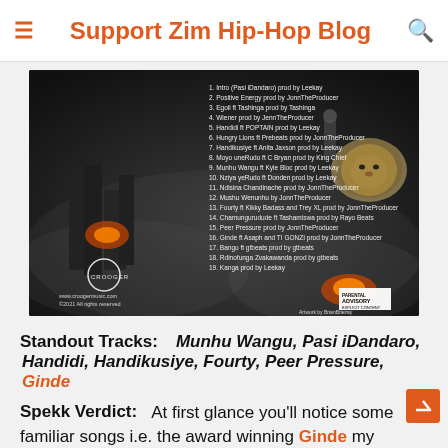Support Zim Hip-Hop Blog
[Figure (photo): Album back cover for Crooger showing track listing with 19 songs, lion image, dystopian city background, Crooger logo, website www.croogermusic.com, copyright 2021, Parental Advisory sticker, Artwork by BrianBriezay]
Standout Tracks: Munhu Wangu, Pasi iDandaro, Handidi, Handikusiye, Fourty, Peer Pressure, Ginde
Spekk Verdict: At first glance you'll notice some familiar songs i.e. the award winning Ginde my personal